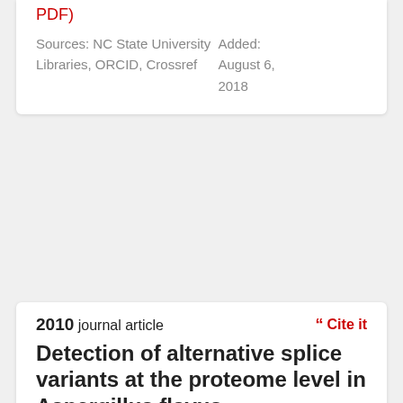PDF)
Sources: NC State University Libraries, ORCID, Crossref
Added: August 6, 2018
2010 journal article
Cite it
Detection of alternative splice variants at the proteome level in Aspergillus flavus
Journal of Proteome Research, 9(3), 1209–1217.
By: K. Chang, D. Georgianna, S. Heber, G. Payne & D. Muddiman